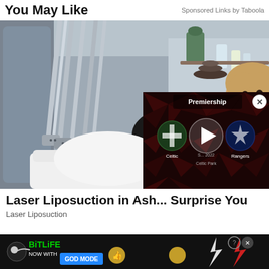You May Like   Sponsored Links by Taboola
[Figure (photo): Woman lying on a medical/aesthetic treatment bed smiling, surrounded by multiple laser liposuction machine arms/applicators attached to her midsection. Clinical aesthetic treatment room environment.]
[Figure (screenshot): Video overlay showing a Premiership football match: Celtic vs Rangers, at Celtic Park, with a play button in the center on a dark red geometric background.]
Laser Liposuction in Ash... Surprise You
Laser Liposuction
[Figure (screenshot): BitLife banner advertisement: 'NOW WITH GOD MODE' with thumbs up icon and question mark/close buttons. Dark background with lightning bolt graphic.]